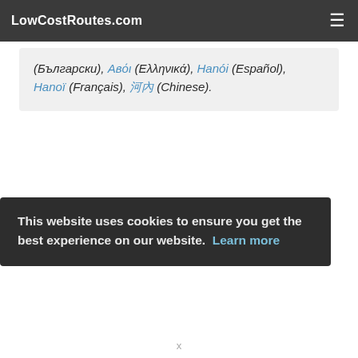LowCostRoutes.com
(Български), Авόι (Ελληνικά), Hanói (Español), Hanoï (Français), 河內 (Chinese).
This website uses cookies to ensure you get the best experience on our website. Learn more